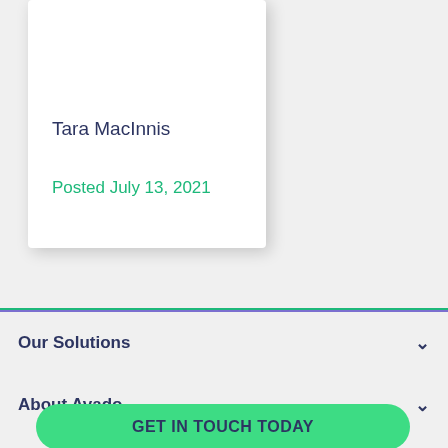Tara MacInnis
Posted July 13, 2021
Our Solutions
About Avado
GET IN TOUCH TODAY
P...